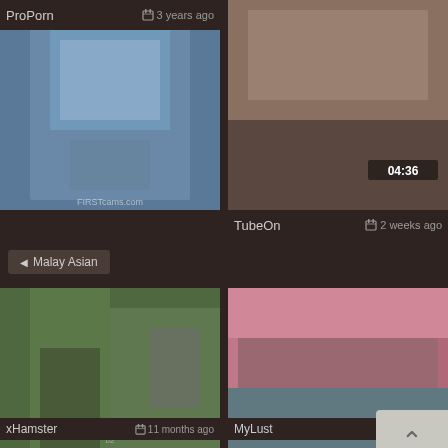[Figure (screenshot): Video thumbnail - blue shirt person, webcam style]
ProPorn    3 years ago
[Figure (screenshot): Video thumbnail - skin tones close-up, duration 04:36]
TubeOn    2 weeks ago
◀ Malay Asian
[Figure (screenshot): Video thumbnail - outdoor close-up body shot on green background]
xHamster    11 months ago
[Figure (screenshot): Video thumbnail - pink and teal fabric close-up, duration 03:18]
MyLust    7 years ago
◀ Creampie Malay
◀ Www.Malay .Fucked .Com
[Figure (screenshot): Partial video thumbnail bottom left]
[Figure (screenshot): Partial video thumbnail bottom right]